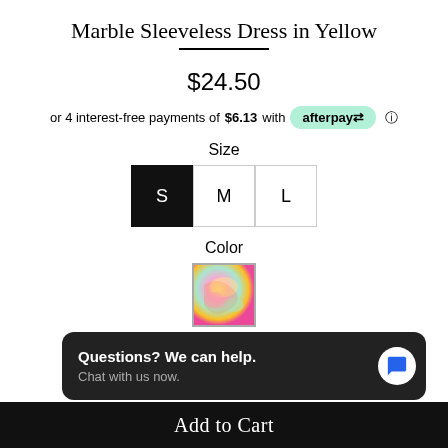Marble Sleeveless Dress in Yellow
$24.50
or 4 interest-free payments of $6.13 with afterpay
Size
S M L
Color
[Figure (photo): Color swatch showing marble yellow dress fabric]
Quantity
Questions? We can help. Chat with us now.
Add to Cart